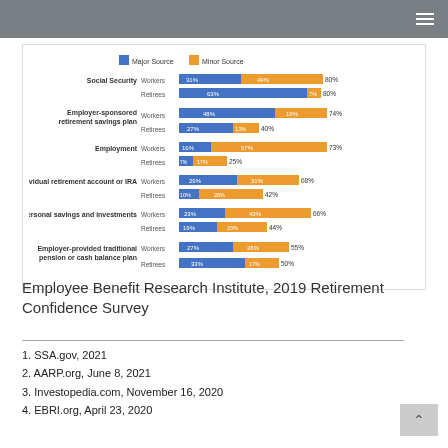[Figure (grouped-bar-chart): ]
Employee Benefit Research Institute, 2019 Retirement Confidence Survey
1. SSA.gov, 2021
2. AARP.org, June 8, 2021
3. Investopedia.com, November 16, 2020
4. EBRI.org, April 23, 2020